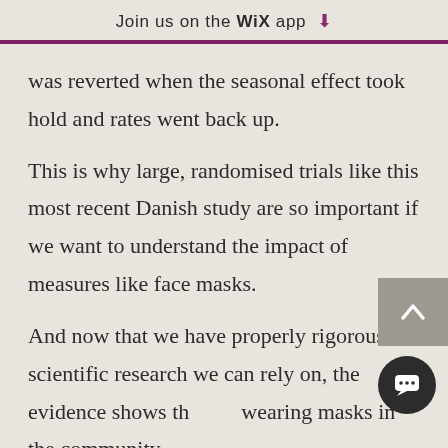Join us on the WiX app ↓
was reverted when the seasonal effect took hold and rates went back up.
This is why large, randomised trials like this most recent Danish study are so important if we want to understand the impact of measures like face masks.
And now that we have properly rigorous scientific research we can rely on, the evidence shows that wearing masks in the community